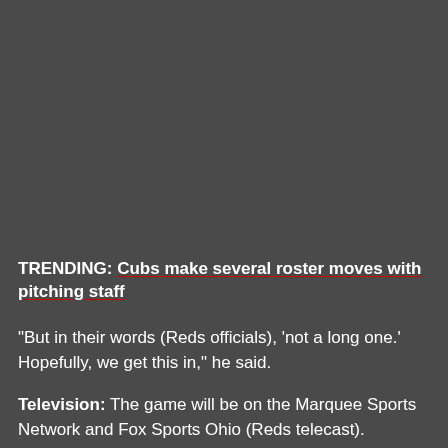TRENDING: Cubs make several roster moves with pitching staff
"But in their words (Reds officials), 'not a long one.' Hopefully, we get this in," he said.
Television: The game will be on the Marquee Sports Network and Fox Sports Ohio (Reds telecast).
Announcers: Len Kasper and Jim Deshaies (Cubs)